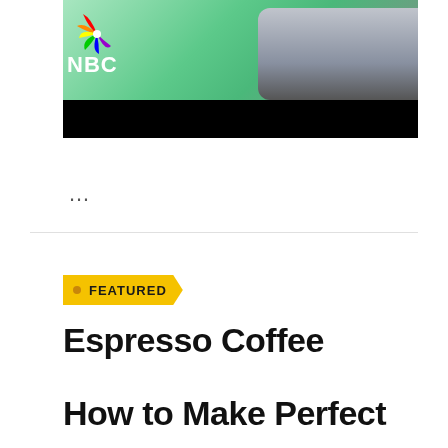[Figure (screenshot): Screenshot of a video player showing a man in a mint green t-shirt with the NBC peacock logo in the foreground and a dark sports car in the background. The bottom portion of the video player is a black bar (controls area).]
...
FEATURED
Espresso Coffee
How to Make Perfect